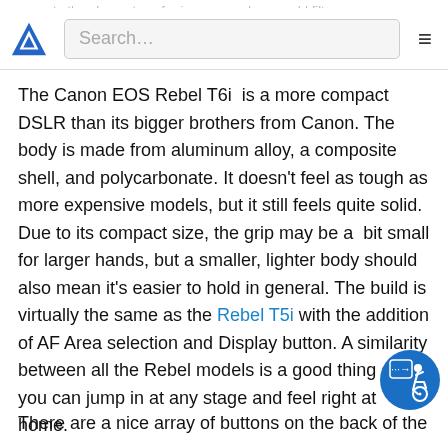camera to the phone, transfer images, and even add filters
Search...
The Canon EOS Rebel T6i  is a more compact DSLR than its bigger brothers from Canon. The body is made from aluminum alloy, a composite shell, and polycarbonate. It doesn't feel as tough as more expensive models, but it still feels quite solid. Due to its compact size, the grip may be a  bit small for larger hands, but a smaller, lighter body should also mean it's easier to hold in general. The build is virtually the same as the Rebel T5i with the addition of AF Area selection and Display button. A similarity between all the Rebel models is a good thing as you can jump in at any stage and feel right at home.
There are a nice array of buttons on the back of the